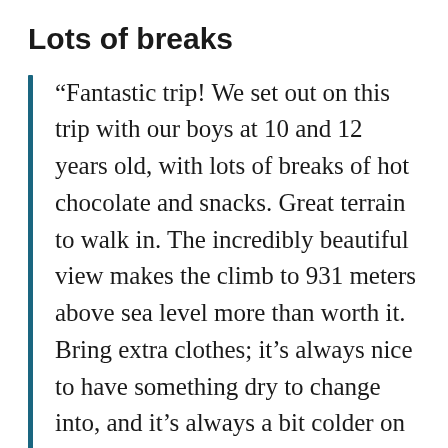Lots of breaks
“Fantastic trip! We set out on this trip with our boys at 10 and 12 years old, with lots of breaks of hot chocolate and snacks. Great terrain to walk in. The incredibly beautiful view makes the climb to 931 meters above sea level more than worth it. Bring extra clothes; it’s always nice to have something dry to change into, and it’s always a bit colder on the mountaintop”